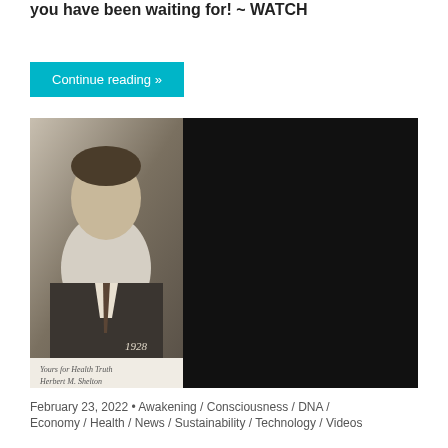you have been waiting for! ~ WATCH
Continue reading »
[Figure (photo): Black and white portrait photo of Herbert M. Shelton (1928) on the left half, and on the right half a black background with white text quote: 'Medical men in all ages have mistaken the actions of the living organism in self-defense for the actions of foreign substances upon it. They have mistaken the vital action of expelling foreign substances from the body for an attack of some outside entity upon the body. In thus mistaking the true nature of operations seen in disease, they have attempted to subdue, suppress, & destroy the very actions & processes that alone can save the life of the patient. In their efforts to cure (exorcise or kill an imaginary enemy), they have been warring upon the human constitution.' — DR. HERBERT SHELTON]
February 23, 2022  •  Awakening / Consciousness / DNA / Economy / Health / News / Sustainability / Technology / Videos